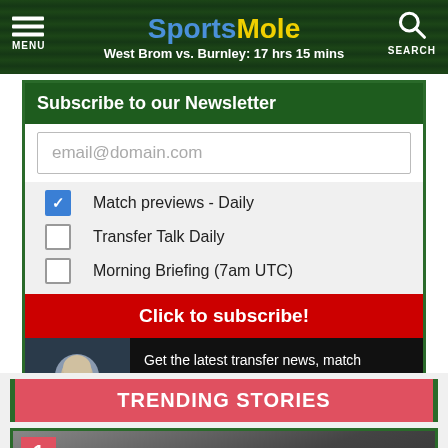SportsMole — West Brom vs. Burnley: 17 hrs 15 mins
Subscribe to our Newsletter
email@domain.com
Match previews - Daily (checked)
Transfer Talk Daily
Morning Briefing (7am UTC)
Click to subscribe!
Get the latest transfer news, match previews and news direct to your inbox!
TRENDING STORIES
[Figure (photo): Trending story #1 thumbnail with red number badge]